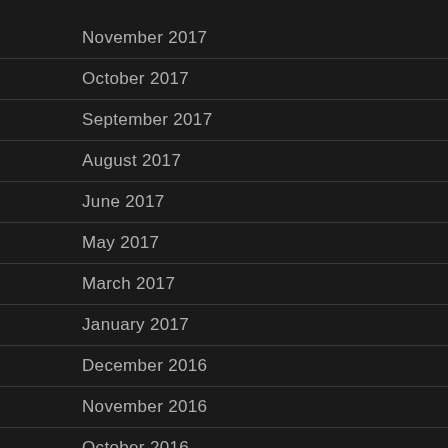November 2017
October 2017
September 2017
August 2017
June 2017
May 2017
March 2017
January 2017
December 2016
November 2016
October 2016
September 2016
August 2016